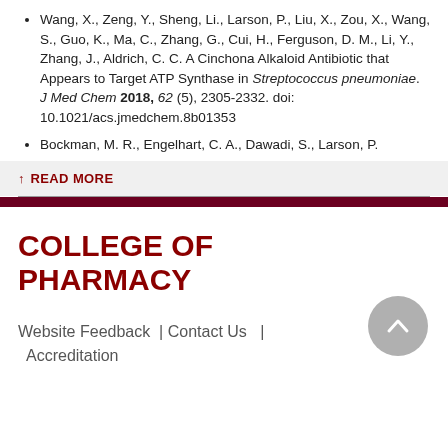Wang, X., Zeng, Y., Sheng, Li., Larson, P., Liu, X., Zou, X., Wang, S., Guo, K., Ma, C., Zhang, G., Cui, H., Ferguson, D. M., Li, Y., Zhang, J., Aldrich, C. C. A Cinchona Alkaloid Antibiotic that Appears to Target ATP Synthase in Streptococcus pneumoniae. J Med Chem 2018, 62 (5), 2305-2332. doi: 10.1021/acs.jmedchem.8b01353
Bockman, M. R., Engelhart, C. A., Dawadi, S., Larson, P.
↑ READ MORE
COLLEGE OF PHARMACY
Website Feedback | Contact Us | Accreditation